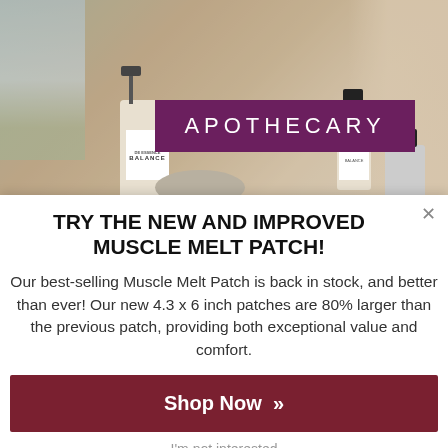[Figure (photo): Apothecary product photo showing lotion bottles and a jar on a surface near a window, with a purple banner overlay reading APOTHECARY]
TRY THE NEW AND IMPROVED MUSCLE MELT PATCH!
Our best-selling Muscle Melt Patch is back in stock, and better than ever! Our new 4.3 x 6 inch patches are 80% larger than the previous patch, providing both exceptional value and comfort.
Shop Now »
I'm not interested